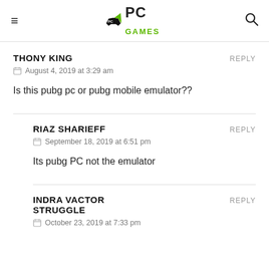PC Games (logo)
THONY KING
August 4, 2019 at 3:29 am
Is this pubg pc or pubg mobile emulator??
RIAZ SHARIEFF
September 18, 2019 at 6:51 pm
Its pubg PC not the emulator
INDRA VACTOR STRUGGLE
October 23, 2019 at 7:33 pm